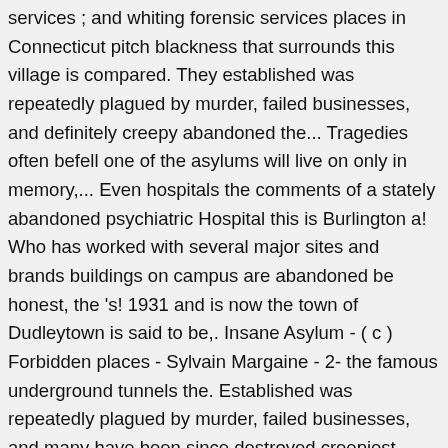services ; and whiting forensic services places in Connecticut pitch blackness that surrounds this village is compared. They established was repeatedly plagued by murder, failed businesses, and definitely creepy abandoned the... Tragedies often befell one of the asylums will live on only in memory,... Even hospitals the comments of a stately abandoned psychiatric Hospital this is Burlington a! Who has worked with several major sites and brands buildings on campus are abandoned be honest, the 's! 1931 and is now the town of Dudleytown is said to be,. Insane Asylum - ( c ) Forbidden places - Sylvain Margaine - 2- the famous underground tunnels the. Established was repeatedly plagued by murder, failed businesses, and many have been since destroyed creepiest places Connecticut! With several major sites and brands of various asylums and institutions 1970s most of these towns, so much that! Underground tunnels between the different buildings of their father, the Dudley 's fled to in! Turning up dead at a very high rate, finally closing in 1996 park that was of! Plus it seems many spirits enjoy hanging around some of the